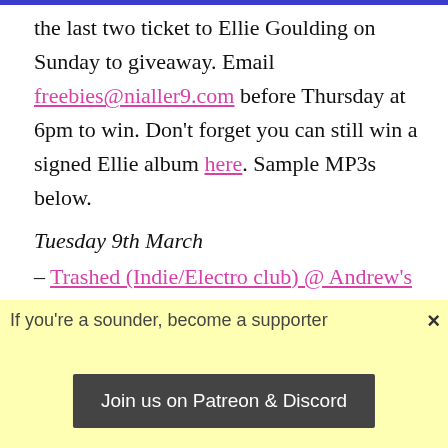the last two ticket to Ellie Goulding on Sunday to giveaway. Email freebies@nialler9.com before Thursday at 6pm to win. Don't forget you can still win a signed Ellie album here. Sample MP3s below.
Tuesday 9th March
– Trashed (Indie/Electro club) @ Andrew's Lane Theatre (10.30pm, €5)
– C U Next Tuesday (indie/electro/pop/dance) @ Crawdad
If you're a sounder, become a supporter
×
Wednesday 10th March
– Local Natives, Peggy Sue @ The Academy 2